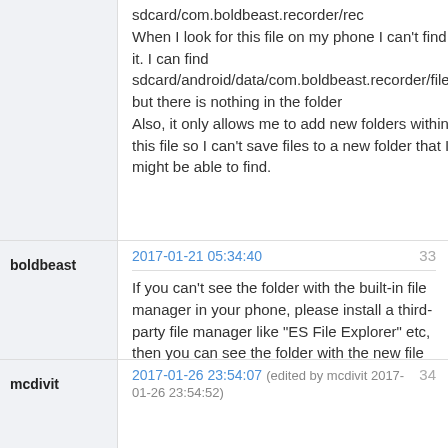sdcard/com.boldbeast.recorder/rec
When I look for this file on my phone I can't find it. I can find
sdcard/android/data/com.boldbeast.recorder/files
but there is nothing in the folder
Also, it only allows me to add new folders within this file so I can't save files to a new folder that I might be able to find.
boldbeast
2017-01-21 05:34:40
33
If you can't see the folder with the built-in file manager in your phone, please install a third-party file manager like "ES File Explorer" etc, then you can see the folder with the new file manager.
mcdivit
2017-01-26 23:54:07 (edited by mcdivit 2017-01-26 23:54:52)
34